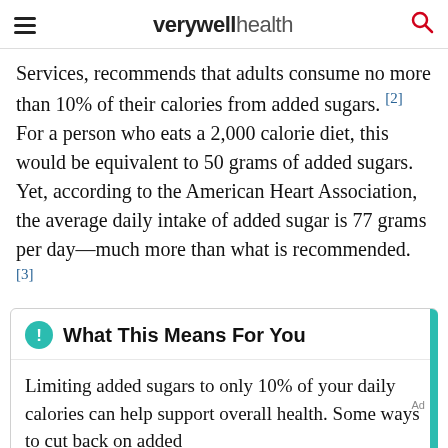verywell health
Services, recommends that adults consume no more than 10% of their calories from added sugars. [2] For a person who eats a 2,000 calorie diet, this would be equivalent to 50 grams of added sugars. Yet, according to the American Heart Association, the average daily intake of added sugar is 77 grams per day—much more than what is recommended. [3]
What This Means For You
Limiting added sugars to only 10% of your daily calories can help support overall health. Some ways to cut back on added